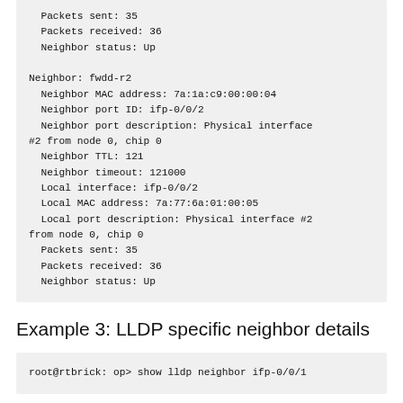Packets sent: 35
  Packets received: 36
  Neighbor status: Up

Neighbor: fwdd-r2
  Neighbor MAC address: 7a:1a:c9:00:00:04
  Neighbor port ID: ifp-0/0/2
  Neighbor port description: Physical interface #2 from node 0, chip 0
  Neighbor TTL: 121
  Neighbor timeout: 121000
  Local interface: ifp-0/0/2
  Local MAC address: 7a:77:6a:01:00:05
  Local port description: Physical interface #2 from node 0, chip 0
  Packets sent: 35
  Packets received: 36
  Neighbor status: Up
Example 3: LLDP specific neighbor details
root@rtbrick: op> show lldp neighbor ifp-0/0/1